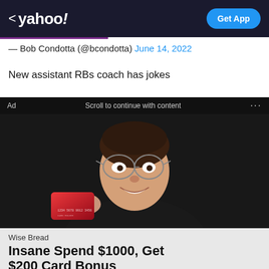< yahoo! Get App
— Bob Condotta (@bcondotta) June 14, 2022
New assistant RBs coach has jokes
Ad   Scroll to continue with content   ...
[Figure (photo): Woman smiling and holding a red credit card against a dark background, wearing glasses and a dark blazer]
Wise Bread
Insane Spend $1000, Get $200 Card Bonus